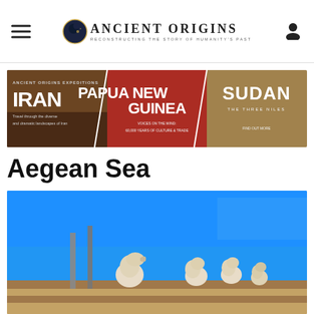Ancient Origins — Reconstructing the Story of Humanity's Past
[Figure (infographic): Ancient Origins Expeditions advertisement banner showing three destinations: IRAN, PAPUA NEW GUINEA, and SUDAN with travel photos]
Aegean Sea
[Figure (photo): Photo of ancient white marble lion statues on stone ruins under a bright blue sky, likely the Terrace of the Lions on Delos island in the Aegean Sea]